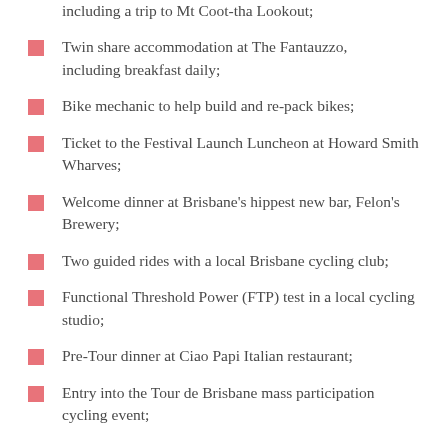including a trip to Mt Coot-tha Lookout;
Twin share accommodation at The Fantauzzo, including breakfast daily;
Bike mechanic to help build and re-pack bikes;
Ticket to the Festival Launch Luncheon at Howard Smith Wharves;
Welcome dinner at Brisbane's hippest new bar, Felon's Brewery;
Two guided rides with a local Brisbane cycling club;
Functional Threshold Power (FTP) test in a local cycling studio;
Pre-Tour dinner at Ciao Papi Italian restaurant;
Entry into the Tour de Brisbane mass participation cycling event;